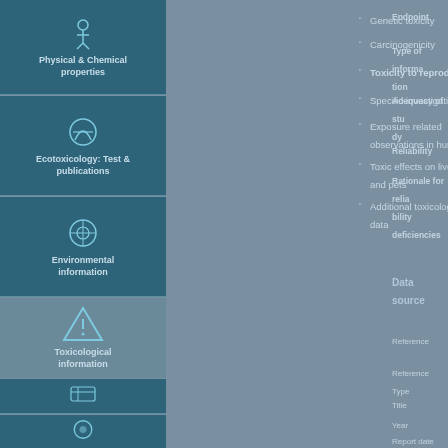Physical & Chemical properties
Ecotoxicology: Test & publications
Environmental information
Toxicological information
Genetic toxicity
Carcinogenicity
Toxicity to reproduction
Specific investigations
Exposure related observations in humans
Toxic effects on livestock and pets
Additional toxicological data
Endpoint
Type of information
Adequacy of study
Reliability
Rationale for reliability deficiencies
Data source
Reference
Reference Type
Title
Year
Report date